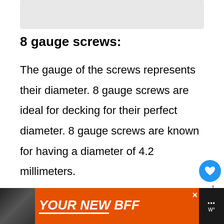[Figure (photo): Gray placeholder image at top of article]
8 gauge screws:
The gauge of the screws represents their diameter. 8 gauge screws are ideal for decking for their perfect diameter. 8 gauge screws are known for having a diameter of 4.2 millimeters.
The diameter of 8 gauge screws are
[Figure (infographic): Advertisement banner: orange background with dog image and text 'YOUR NEW BFF']